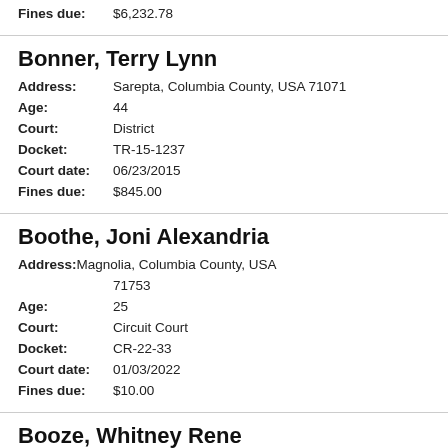Fines due: $6,232.78
Bonner, Terry Lynn
Address: Sarepta, Columbia County, USA 71071
Age: 44
Court: District
Docket: TR-15-1237
Court date: 06/23/2015
Fines due: $845.00
Boothe, Joni Alexandria
Address: Magnolia, Columbia County, USA 71753
Age: 25
Court: Circuit Court
Docket: CR-22-33
Court date: 01/03/2022
Fines due: $10.00
Booze, Whitney Rene
Address: Magnolia, Columbia County, USA 71753